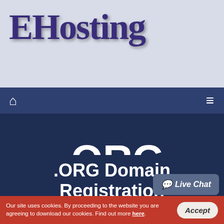[Figure (logo): EHosting logo in large stylized dark purple text on light blue-gray background]
Navigation bar with home icon and hamburger menu icon
.ORG
.ORG Domain Registration
Live Chat
Our site uses cookies. By proceeding to the website you are agreeing to download our cookies. Find out more here.